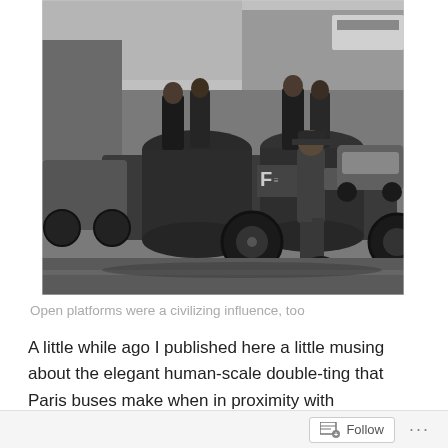[Figure (photo): Black and white historical photograph showing an open-platform bus or vehicle on a city street. Several people are standing on the open rear platform. A uniformed officer or conductor is walking alongside. Vintage cars visible in the background. Street scene appears to be mid-20th century Paris.]
Open platforms were a civilizing influence, too
A little while ago I published here a little musing about the elegant human-scale double-ting that Paris buses make when in proximity with pedestrians. Today, the letter that I print below arrived, and I think it's a delight. I'm grateful to Song Phanekam for taking the trouble to write, and to
Follow ···